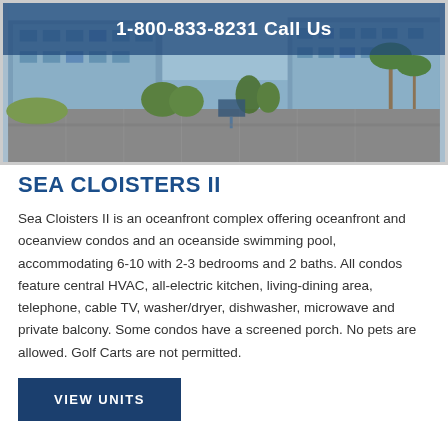1-800-833-8231 Call Us
[Figure (photo): Exterior photo of Sea Cloisters II oceanfront condo complex, showing blue multi-story buildings, parking lot, and landscaping under bright daylight.]
SEA CLOISTERS II
Sea Cloisters II is an oceanfront complex offering oceanfront and oceanview condos and an oceanside swimming pool, accommodating 6-10 with 2-3 bedrooms and 2 baths. All condos feature central HVAC, all-electric kitchen, living-dining area, telephone, cable TV, washer/dryer, dishwasher, microwave and private balcony. Some condos have a screened porch. No pets are allowed. Golf Carts are not permitted.
VIEW UNITS